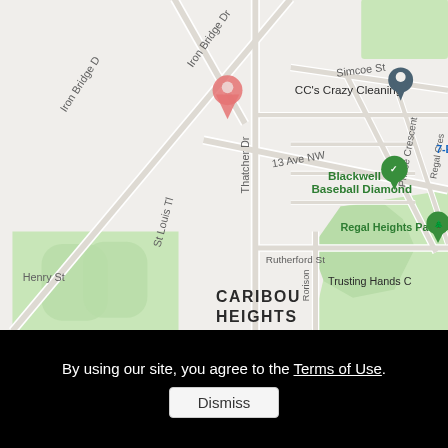[Figure (map): Google Maps screenshot showing Caribou Heights neighborhood with streets: Iron Bridge Dr, St Louis Tr, Henry St, Thatcher Dr, 13 Ave NW, Rutherford St, Simcoe St, Prince Crescent, Regal Crescent, Rorison. Points of interest: CC's Crazy Cleaning, Blackwell Baseball Diamond, Regal Heights Park, Trusting Hands C, 7-Eleven. A red location pin is visible near Iron Bridge Dr. Green park areas visible in lower left and right.]
By using our site, you agree to the Terms of Use.
Dismiss